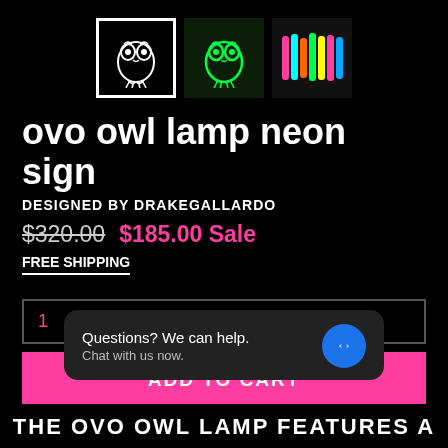[Figure (photo): Three product thumbnail images: first shows OVO owl neon sign in white on black background (active/selected with white border), second shows same owl sign in green neon on dark background, third shows colorful neon tubes/wires on display]
ovo owl lamp neon sign
DESIGNED BY DRAKEGALLARDO
$320.00  $185.00 Sale
FREE SHIPPING
1
ADD TO CART
Questions? We can help.
Chat with us now.
THE OVO OWL LAMP FEATURES A